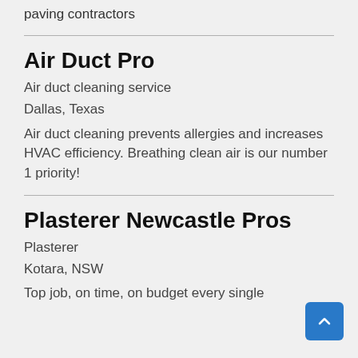paving contractors
Air Duct Pro
Air duct cleaning service
Dallas, Texas
Air duct cleaning prevents allergies and increases HVAC efficiency. Breathing clean air is our number 1 priority!
Plasterer Newcastle Pros
Plasterer
Kotara, NSW
Top job, on time, on budget every single